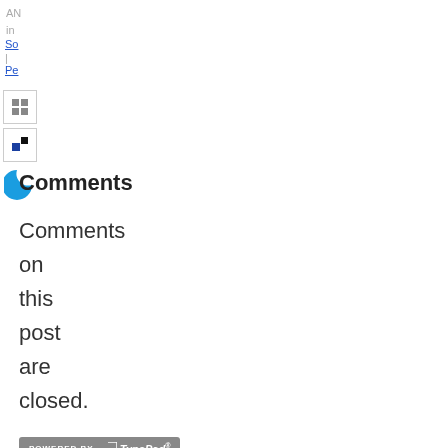AN
in
So
|
Pe
[Figure (screenshot): Sidebar navigation icons and social sharing buttons]
Comments
Comments on this post are closed.
[Figure (logo): Powered by TypePad logo badge]
@ross